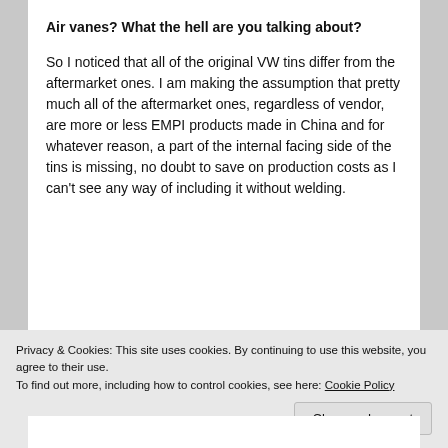Air vanes? What the hell are you talking about?
So I noticed that all of the original VW tins differ from the aftermarket ones. I am making the assumption that pretty much all of the aftermarket ones, regardless of vendor, are more or less EMPI products made in China and for whatever reason, a part of the internal facing side of the tins is missing, no doubt to save on production costs as I can't see any way of including it without welding.
Privacy & Cookies: This site uses cookies. By continuing to use this website, you agree to their use.
To find out more, including how to control cookies, see here: Cookie Policy
Close and accept